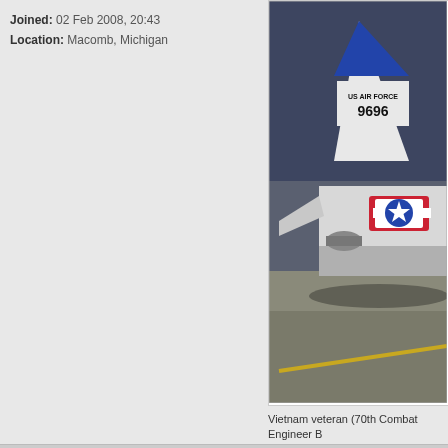Joined: 02 Feb 2008, 20:43
Location: Macomb, Michigan
[Figure (photo): Photograph of a US Air Force aircraft tail section on a tarmac, showing tail number 9696 and US Air Force markings, with a blue tail tip and US military roundel (star and bars) on the fuselage.]
Vietnam veteran (70th Combat Engineer B
Retired from Chrysler Engineering